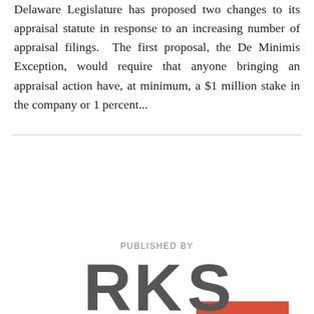Delaware Legislature has proposed two changes to its appraisal statute in response to an increasing number of appraisal filings. The first proposal, the De Minimis Exception, would require that anyone bringing an appraisal action have, at minimum, a $1 million stake in the company or 1 percent...
OLDER POSTS ›
PUBLISHED BY
[Figure (logo): RKS logo in dark gray, stylized letters R, K, S]